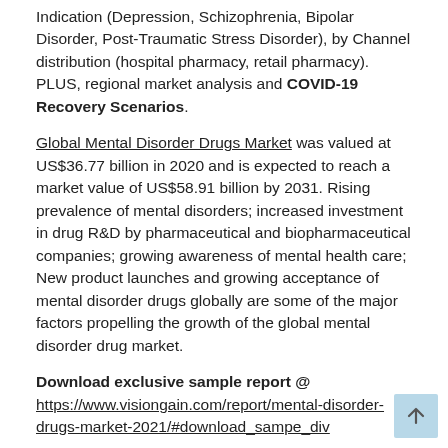Indication (Depression, Schizophrenia, Bipolar Disorder, Post-Traumatic Stress Disorder), by Channel distribution (hospital pharmacy, retail pharmacy). PLUS, regional market analysis and COVID-19 Recovery Scenarios.
Global Mental Disorder Drugs Market was valued at US$36.77 billion in 2020 and is expected to reach a market value of US$58.91 billion by 2031. Rising prevalence of mental disorders; increased investment in drug R&D by pharmaceutical and biopharmaceutical companies; growing awareness of mental health care; New product launches and growing acceptance of mental disorder drugs globally are some of the major factors propelling the growth of the global mental disorder drug market.
Download exclusive sample report @ https://www.visiongain.com/report/mental-disorder-drugs-market-2021/#download_sampe_div
Impact of COVID-19 on the Mental Disorder Drugs Market